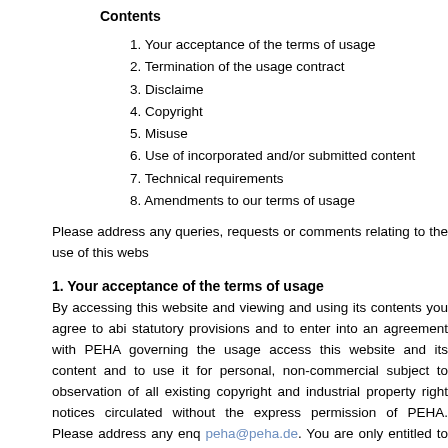Contents
1. Your acceptance of the terms of usage
2. Termination of the usage contract
3. Disclaime
4. Copyright
5. Misuse
6. Use of incorporated and/or submitted content
7. Technical requirements
8. Amendments to our terms of usage
Please address any queries, requests or comments relating to the use of this webs...
1. Your acceptance of the terms of usage
By accessing this website and viewing and using its contents you agree to abi... statutory provisions and to enter into an agreement with PEHA governing the usage... access this website and its content and to use it for personal, non-commercial ... subject to observation of all existing copyright and industrial property right notices... circulated without the express permission of PEHA. Please address any enq... peha@peha.de. You are only entitled to use this website if you are of full legal ... capacity, you require the consent of your legal representative before you may use ... details prior to being able to use specific services (registration). Please ensure th... up-to-date, both now and in the future. If the information you provide is not correc... website or to specific content and your user account may be temporarily or perma... changes to your registration. Registration and/or (newsletter) subscription are rest...